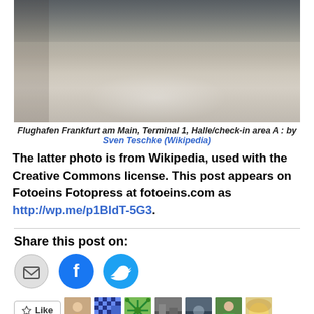[Figure (photo): Interior of Frankfurt Airport Terminal 1, Hall/check-in area A — wide shot of the terminal floor with travelers and check-in counters in the background]
Flughafen Frankfurt am Main, Terminal 1, Halle/check-in area A : by Sven Teschke (Wikipedia)
The latter photo is from Wikipedia, used with the Creative Commons license. This post appears on Fotoeins Fotopress at fotoeins.com as http://wp.me/p1BIdT-5G3.
Share this post on:
[Figure (infographic): Share buttons: email (envelope icon), Facebook (f icon), Twitter (bird icon)]
[Figure (infographic): Like button and 7 blogger avatar thumbnails]
7 bloggers like this.